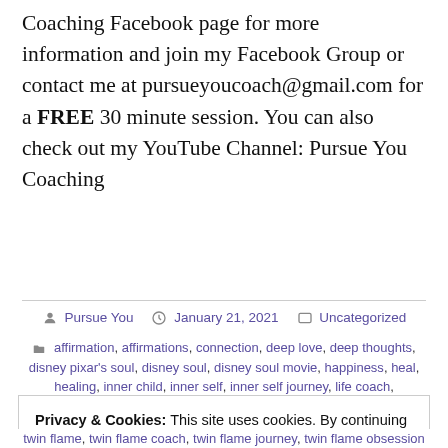Coaching Facebook page for more information and join my Facebook Group or contact me at pursueyoucoach@gmail.com for a FREE 30 minute session. You can also check out my YouTube Channel: Pursue You Coaching
Posted by Pursue You  January 21, 2021  Uncategorized
affirmation, affirmations, connection, deep love, deep thoughts, disney pixar's soul, disney soul, disney soul movie, happiness, heal, healing, inner child, inner self, inner self journey, life coach,
Privacy & Cookies: This site uses cookies. By continuing to use this website, you agree to their use.
To find out more, including how to control cookies, see here:
Cookie Policy
Close and accept
twin flame, twin flame coach, twin flame journey, twin flame obsession